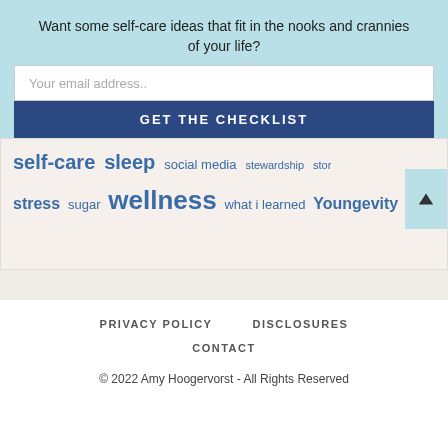Want some self-care ideas that fit in the nooks and crannies of your life?
Your email address..
GET THE CHECKLIST
self-care sleep social media stewardship stor… stress sugar wellness what i learned Youngevity
PRIVACY POLICY   DISCLOSURES   CONTACT
© 2022 Amy Hoogervorst - All Rights Reserved